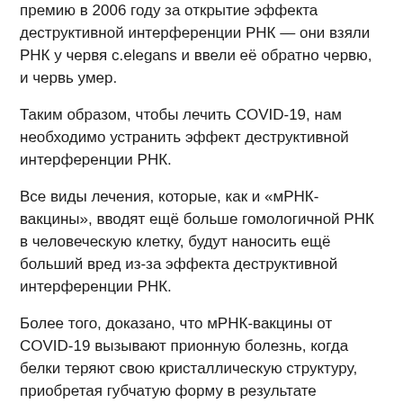премию в 2006 году за открытие эффекта деструктивной интерференции РНК — они взяли РНК у червя c.elegans и ввели её обратно червю, и червь умер.
Таким образом, чтобы лечить COVID-19, нам необходимо устранить эффект деструктивной интерференции РНК.
Все виды лечения, которые, как и «мРНК-вакцины», вводят ещё больше гомологичной РНК в человеческую клетку, будут наносить ещё больший вред из-за эффекта деструктивной интерференции РНК.
Более того, доказано, что мРНК-вакцины от COVID-19 вызывают прионную болезнь, когда белки теряют свою кристаллическую структуру, приобретая губчатую форму в результате структурного повреждения